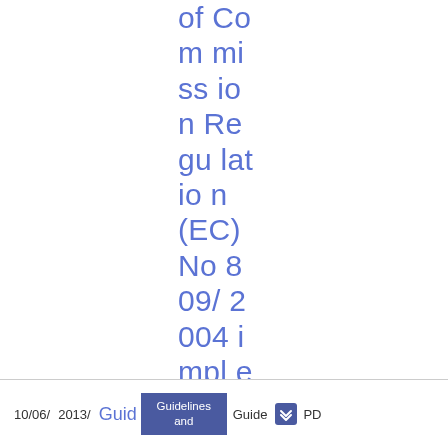of Commission Regulation (EC) No 809/2004 implementing the Prospectus Directive
10/06/ 2013/ Guid Guidelines and Guide PD